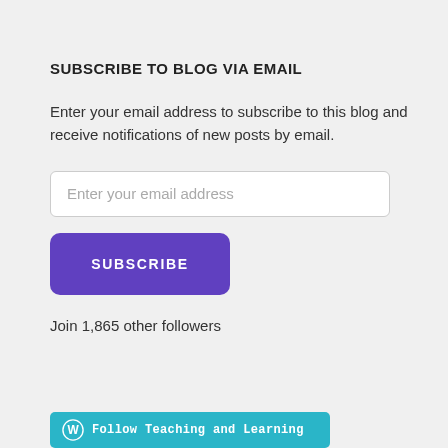SUBSCRIBE TO BLOG VIA EMAIL
Enter your email address to subscribe to this blog and receive notifications of new posts by email.
Enter your email address
SUBSCRIBE
Join 1,865 other followers
Follow Teaching and Learning